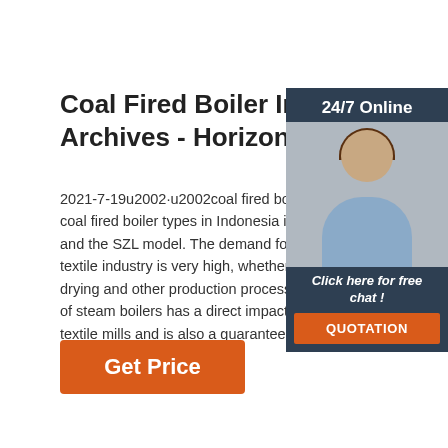Coal Fired Boiler In Indonesia Archives - Horizontal Gas ...
2021-7-19u2002·u2002coal fired boiler in Indo coal fired boiler types in Indonesia includes DZ and the SZL model. The demand for steam bo textile industry is very high, whether it is for dy drying and other production processes, so the of steam boilers has a direct impact on the pro textile mills and is also a guarantee of textile q
[Figure (other): Side panel with 24/7 Online text, photo of a woman with headset (customer service representative), 'Click here for free chat!' text, and orange QUOTATION button, on dark blue/grey background]
Get Price